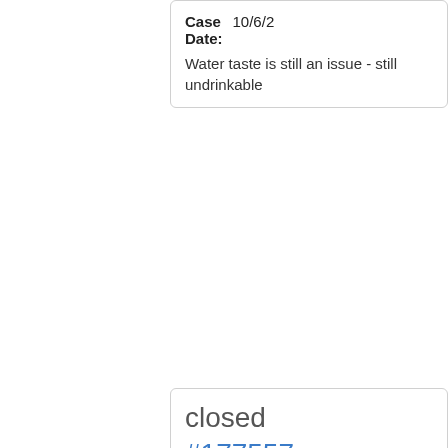Case Date: 10/6/2... Water taste is still an issue - still undrinkable
closed #177557 Water Quality 4032 W Glen Oaks DR Case Date: 9/21/2... Taste of the